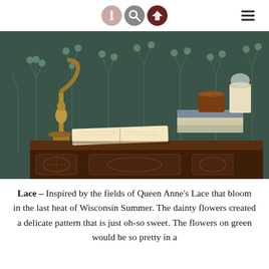[navigation icons and hamburger menu]
[Figure (photo): A wooden carved console table with an open book, a brass lamp, a stack of books topped with an amber jar candle and a wax candle holder, set against dark green floral wallpaper.]
Lace – Inspired by the fields of Queen Anne's Lace that bloom in the last heat of Wisconsin Summer. The dainty flowers created a delicate pattern that is just oh-so sweet. The flowers on green would be so pretty in a